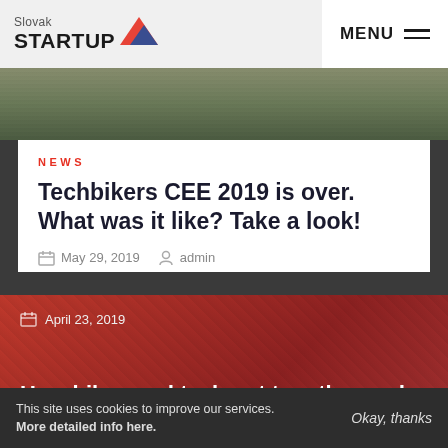Slovak STARTUP | MENU
[Figure (photo): Outdoor group photo on stone steps, partially cropped]
NEWS
Techbikers CEE 2019 is over. What was it like? Take a look!
May 29, 2019   admin
[Figure (photo): Red-tinted background photo for second article card]
April 23, 2019
How bikes and tech got together and why it was worth it
This site uses cookies to improve our services. More detailed info here.   Okay, thanks